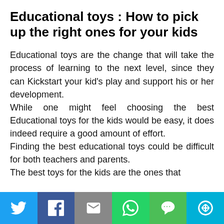Educational toys : How to pick up the right ones for your kids
Educational toys are the change that will take the process of learning to the next level, since they can Kickstart your kid's play and support his or her development.
While one might feel choosing the best Educational toys for the kids would be easy, it does indeed require a good amount of effort.
Finding the best educational toys could be difficult for both teachers and parents.
The best toys for the kids are the ones that
[Figure (infographic): Social sharing bar with Twitter, Facebook, Email, WhatsApp, SMS, and More buttons]